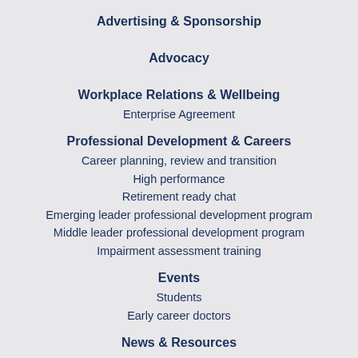Advertising & Sponsorship
Advocacy
Workplace Relations & Wellbeing
Enterprise Agreement
Professional Development & Careers
Career planning, review and transition
High performance
Retirement ready chat
Emerging leader professional development program
Middle leader professional development program
Impairment assessment training
Events
Students
Early career doctors
News & Resources